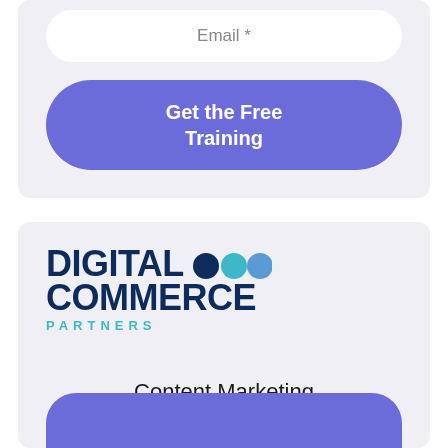Email *
Get the Free Training
[Figure (logo): Digital Commerce Partners logo with three circles (dark navy, teal, blue) and PARTNERS text in teal below]
Content Marketing and SEO Services from Copyblogger